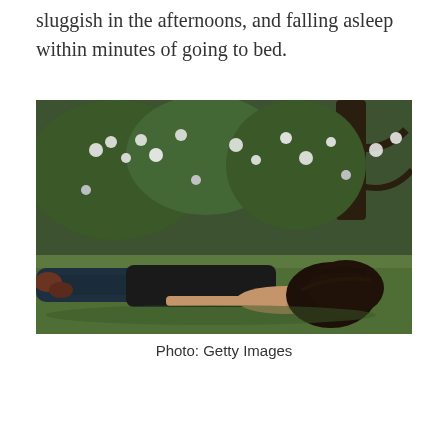sluggish in the afternoons, and falling asleep within minutes of going to bed.
[Figure (photo): A woman lying face-down on grass with flowering bushes in the background, appearing to be resting or exhausted outdoors.]
Photo: Getty Images